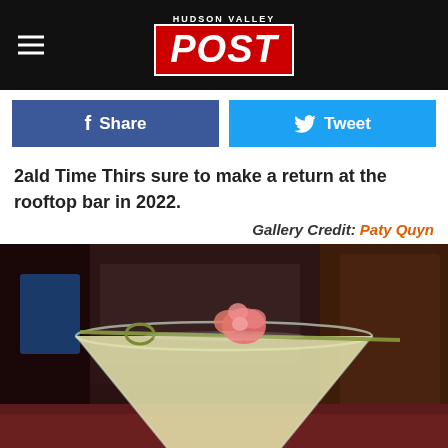HUDSON VALLEY POST
Share   Tweet
2ald Time Thirs sure to make a return at the rooftop bar in 2022.
Gallery Credit: Paty Quyn
[Figure (photo): Close-up photo of a martini glass filled with pale yellow liquid, garnished with a pink flower and bamboo skewer, with a dark interior background]